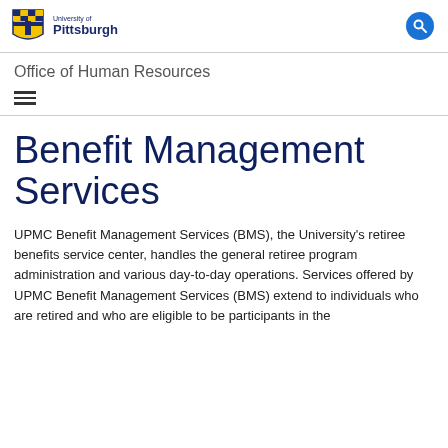University of Pittsburgh
Office of Human Resources
Benefit Management Services
UPMC Benefit Management Services (BMS), the University's retiree benefits service center, handles the general retiree program administration and various day-to-day operations. Services offered by UPMC Benefit Management Services (BMS) extend to individuals who are retired and who are eligible to be participants in the